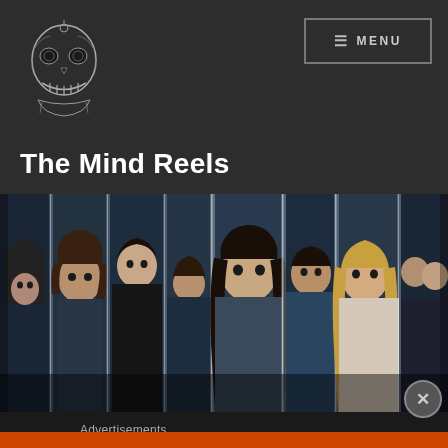[Figure (logo): The Mind Reels website logo — a detailed skull illustration in black and white/gray tones]
The Mind Reels
[Figure (photo): Promotional image for a TV show (Orphan Black style) showing multiple people in different vertical strip panels, moody blue-gray tones, with young men and women looking dramatically]
Advertisements